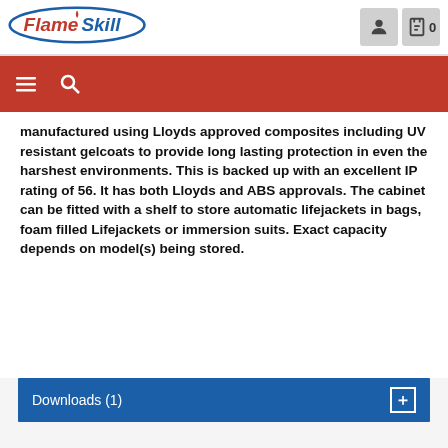[Figure (logo): FlameSkill logo with oval border, red and blue text]
manufactured using Lloyds approved composites including UV resistant gelcoats to provide long lasting protection in even the harshest environments. This is backed up with an excellent IP rating of 56. It has both Lloyds and ABS approvals. The cabinet can be fitted with a shelf to store automatic lifejackets in bags, foam filled Lifejackets or immersion suits. Exact capacity depends on model(s) being stored.
Downloads (1)